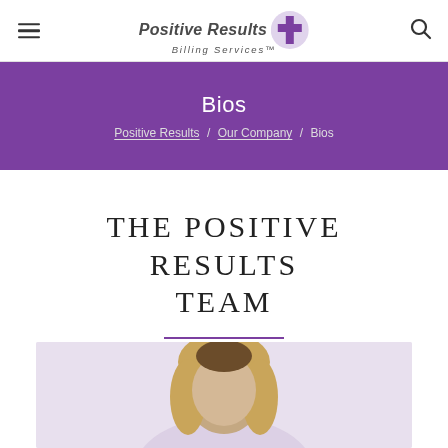Positive Results Billing Services
Bios
Positive Results / Our Company / Bios
THE POSITIVE RESULTS TEAM
[Figure (photo): Portrait photo of a woman with blonde hair against a light background, partially visible at the bottom of the page]